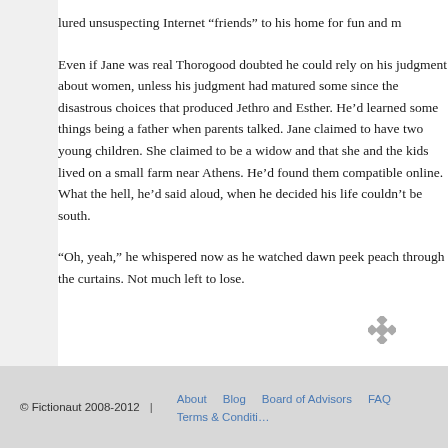lured unsuspecting Internet “friends” to his home for fun and m
Even if Jane was real Thorogood doubted he could rely on his judgment about women, unless his judgment had matured some since the disastrous choices that produced Jethro and Esther. He’d learned some things being a father when parents talked. Jane claimed to have two young children. She claimed to be a widow and that she and the kids lived on a small farm near Athens. He’d found them compatible online. What the hell, he’d said aloud, when he decided his life couldn’t be south.
“Oh, yeah,” he whispered now as he watched dawn peek peach through the curtains. Not much left to lose.
[Figure (other): Decorative diamond/asterisk divider symbol in gray]
© Fictionaut 2008-2012  |  About  Blog  Board of Advisors  FAQ  Terms & Conditi...